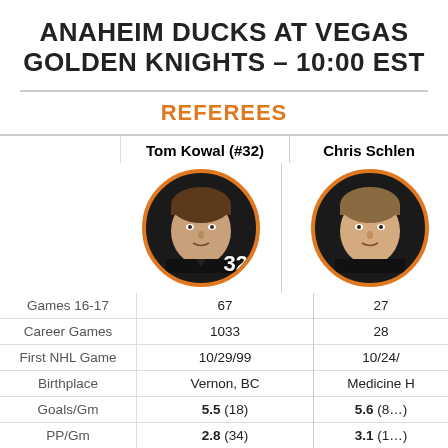ANAHEIM DUCKS AT VEGAS GOLDEN KNIGHTS – 10:00 EST
REFEREES
|  | Tom Kowal (#32) | Chris Schlen... |
| --- | --- | --- |
| Games 16-17 | 67 | 27 |
| Career Games | 1033 | 28 |
| First NHL Game | 10/29/99 | 10/24/... |
| Birthplace | Vernon, BC | Medicine H... |
| Goals/Gm | 5.5 (18) | 5.6 (8...) |
| PP/Gm | 2.8 (34) | 3.1 (1...) |